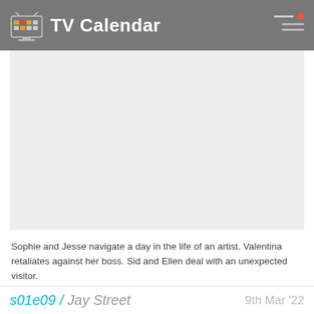TV Calendar
[Figure (photo): Large image placeholder area, light gray background, screenshot from a TV show episode]
Sophie and Jesse navigate a day in the life of an artist. Valentina retaliates against her boss. Sid and Ellen deal with an unexpected visitor.
2037 have watched this episode
[Figure (illustration): Eye icon in light gray, indicating 'watched' status]
s01e09 / Jay Street
9th Mar '22